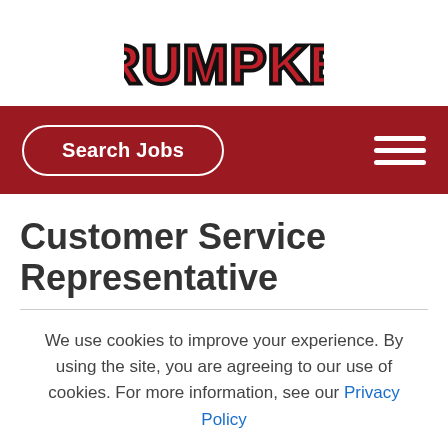[Figure (logo): Rumpke company logo in red block letters with black outline]
Search Jobs
Customer Service Representative
We use cookies to improve your experience. By using the site, you are agreeing to our use of cookies. For more information, see our Privacy Policy
Accept